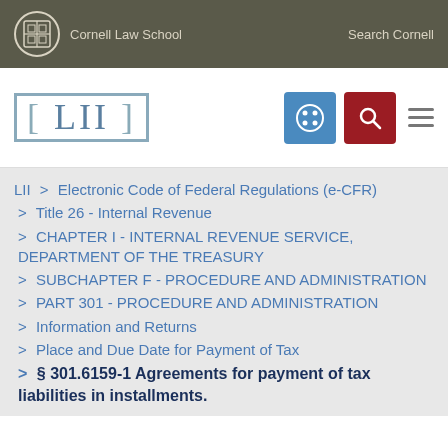Cornell Law School | Search Cornell
[Figure (logo): LII (Legal Information Institute) logo with navigation icons]
LII > Electronic Code of Federal Regulations (e-CFR)
> Title 26 - Internal Revenue
> CHAPTER I - INTERNAL REVENUE SERVICE, DEPARTMENT OF THE TREASURY
> SUBCHAPTER F - PROCEDURE AND ADMINISTRATION
> PART 301 - PROCEDURE AND ADMINISTRATION
> Information and Returns
> Place and Due Date for Payment of Tax
> § 301.6159-1 Agreements for payment of tax liabilities in installments.